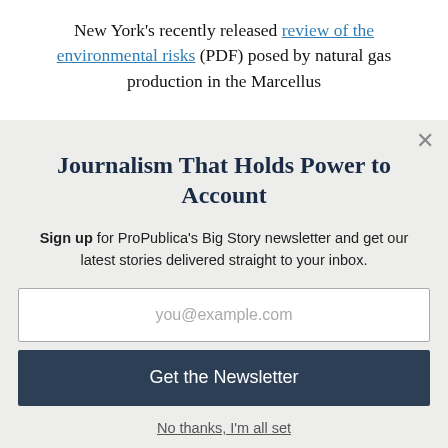New York's recently released review of the environmental risks (PDF) posed by natural gas production in the Marcellus
Journalism That Holds Power to Account
Sign up for ProPublica's Big Story newsletter and get our latest stories delivered straight to your inbox.
you@example.com
Get the Newsletter
No thanks, I'm all set
This site is protected by reCAPTCHA and the Google Privacy Policy and Terms of Service apply.